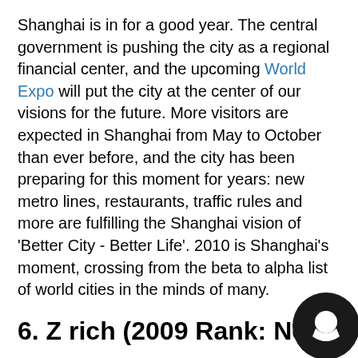Shanghai is in for a good year. The central government is pushing the city as a regional financial center, and the upcoming World Expo will put the city at the center of our visions for the future. More visitors are expected in Shanghai from May to October than ever before, and the city has been preparing for this moment for years: new metro lines, restaurants, traffic rules and more are fulfilling the Shanghai vision of 'Better City - Better Life'. 2010 is Shanghai's moment, crossing from the beta to alpha list of world cities in the minds of many.
6. Z rich (2009 Rank: New)
Why sleepy Zurich? Beneath the money sheets, Zurich is sizzling. While it may be unassuming, expensive and quiet, Zurich is at the vanguard of a major shift in the financial fortunes of Europe. Companies from the and other markets are relocating to Zurich to take advantage of tax and labor benefits resulting from the